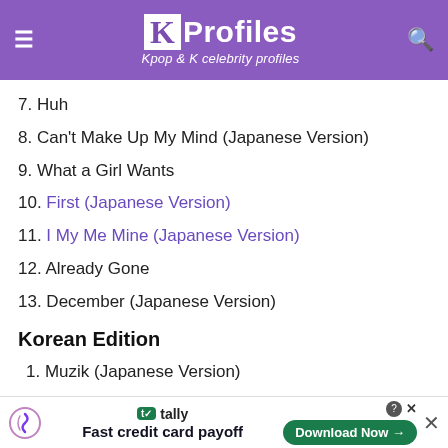K Profiles — Kpop & K celebrity profiles
7. Huh
8. Can't Make Up My Mind (Japanese Version)
9. What a Girl Wants
10. First (Japanese Version)
11. I My Me Mine (Japanese Version)
12. Already Gone
13. December (Japanese Version)
Korean Edition
1. Muzik (Japanese Version)
2. Bababa